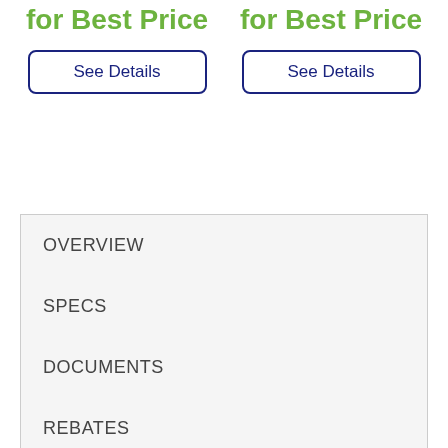for Best Price
See Details
for Best Price
See Details
OVERVIEW
SPECS
DOCUMENTS
REBATES
VIDEOS
DELIVERY